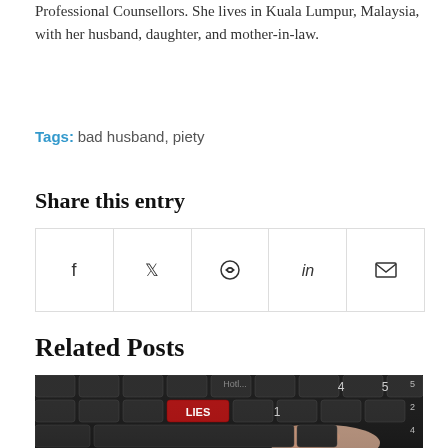Professional Counsellors. She lives in Kuala Lumpur, Malaysia, with her husband, daughter, and mother-in-law.
Tags: bad husband, piety
Share this entry
[Figure (other): Share buttons row: Facebook, Twitter, WhatsApp, LinkedIn, Email icons in bordered cells]
Related Posts
[Figure (photo): Close-up photo of a black keyboard with a red key labeled LIES being pressed by a finger]